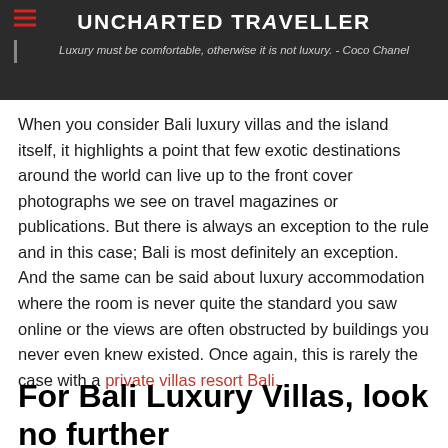UNCHARTED TRAVELLER — Luxury must be comfortable, otherwise it is not luxury. - Coco Chanel
When you consider Bali luxury villas and the island itself, it highlights a point that few exotic destinations around the world can live up to the front cover photographs we see on travel magazines or publications. But there is always an exception to the rule and in this case; Bali is most definitely an exception. And the same can be said about luxury accommodation where the room is never quite the standard you saw online or the views are often obstructed by buildings you never even knew existed. Once again, this is rarely the case with a private villas resort Bali.
For Bali Luxury Villas, look no further